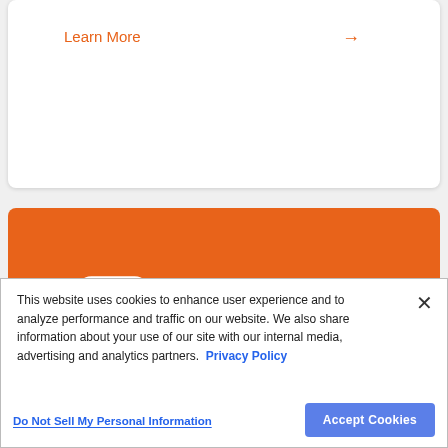Learn More →
[Figure (logo): LiveChat logo on orange background — white chat bubble icon and 'LiveChat' text in white]
This website uses cookies to enhance user experience and to analyze performance and traffic on our website. We also share information about your use of our site with our internal media, advertising and analytics partners. Privacy Policy
Do Not Sell My Personal Information
Accept Cookies